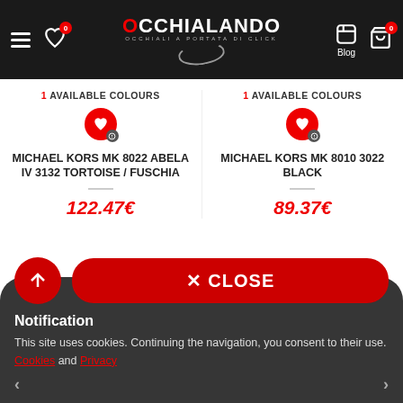Occhialando – Occhiali a portata di click
1 AVAILABLE COLOURS
MICHAEL KORS MK 8022 ABELA IV 3132 TORTOISE / FUSCHIA
122.47€
1 AVAILABLE COLOURS
MICHAEL KORS MK 8010 3022 BLACK
89.37€
✕ CLOSE
Notification
This site uses cookies. Continuing the navigation, you consent to their use. Cookies and Privacy